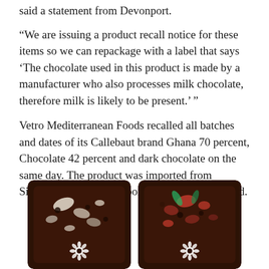said a statement from Devonport.
“We are issuing a product recall notice for these items so we can repackage with a label that says ‘The chocolate used in this product is made by a manufacturer who also processes milk chocolate, therefore milk is likely to be present.’ ”
Vetro Mediterranean Foods recalled all batches and dates of its Callebaut brand Ghana 70 percent, Chocolate 42 percent and dark chocolate on the same day. The product was imported from Singapore and is not exported from New Zealand.
[Figure (photo): Two dark chocolate bars with decorative toppings (nuts/dried fruits) and a white flower logo, side by side, partially cropped at bottom of page.]